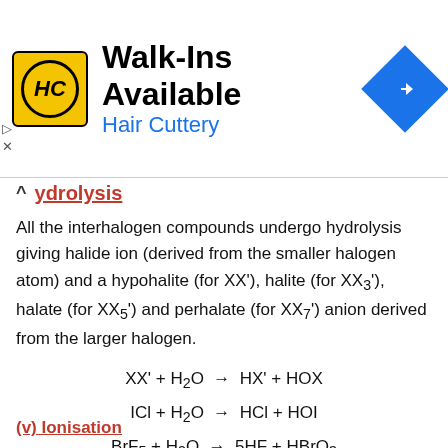[Figure (other): Advertisement banner for Hair Cuttery with logo, text 'Walk-Ins Available / Hair Cuttery', navigation icon, and close controls]
Hydrolysis
All the interhalogen compounds undergo hydrolysis giving halide ion (derived from the smaller halogen atom) and a hypohalite (for XX'), halite (for XX3'), halate (for XX5') and perhalate (for XX7') anion derived from the larger halogen.
(v) Ionisation